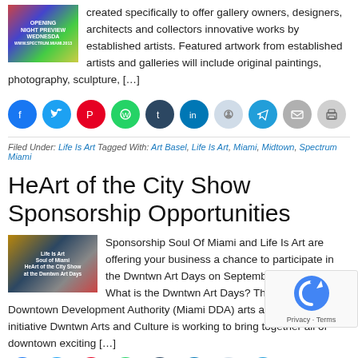created specifically to offer gallery owners, designers, architects and collectors innovative works by established artists. Featured artwork from established artists and galleries will include original paintings, photography, sculpture, […]
[Figure (illustration): Small thumbnail image of an art event flyer]
[Figure (infographic): Row of social sharing circles: Facebook, Twitter, Pinterest, WhatsApp, Tumblr, LinkedIn, Reddit, Telegram, Email, Print]
Filed Under: Life Is Art Tagged With: Art Basel, Life Is Art, Miami, Midtown, Spectrum Miami
HeArt of the City Show Sponsorship Opportunities
[Figure (illustration): Small thumbnail image: Life Is Art / Soul of Miami / HeArt of the City Show at the Dwntwn Art Days]
Sponsorship Soul Of Miami and Life Is Art are offering your business a chance to participate in the Dwntwn Art Days on September 20-22, 2013 What is the Dwntwn Art Days? The Miami Downtown Development Authority (Miami DDA) arts and culture initiative Dwntwn Arts and Culture is working to bring together all of downtown exciting […]
[Figure (infographic): Partial row of social sharing circles at bottom of page]
[Figure (other): Google reCAPTCHA widget overlay in bottom right corner]